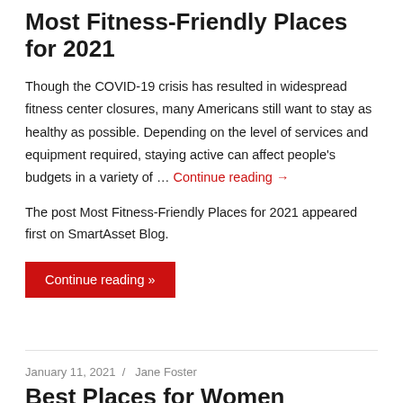Most Fitness-Friendly Places for 2021
Though the COVID-19 crisis has resulted in widespread fitness center closures, many Americans still want to stay as healthy as possible. Depending on the level of services and equipment required, staying active can affect people’s budgets in a variety of … Continue reading →
The post Most Fitness-Friendly Places for 2021 appeared first on SmartAsset Blog.
Continue reading »
January 11, 2021 / Jane Foster
Best Places for Women Entrepreneurs